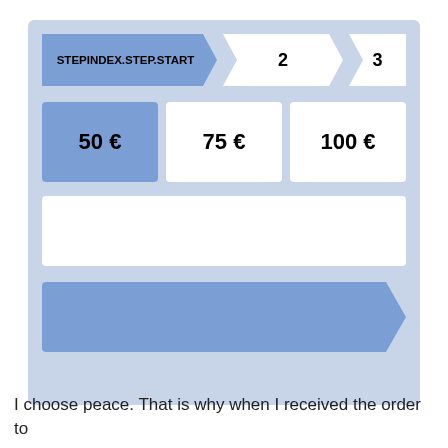[Figure (screenshot): A mobile UI panel with a step indicator showing 'STEPINDEX.STEP.START', '2', '3', three amount buttons '50 €' (selected/highlighted), '75 €', '100 €', a text input area, and a large blue arrow/chevron button.]
I choose peace. That is why when I received the order to